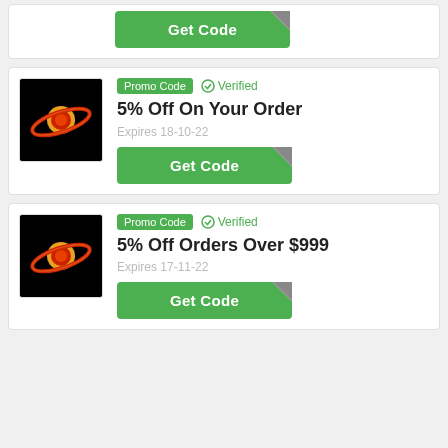[Figure (other): Partial coupon card showing Get Code button at top of page]
Get Code
[Figure (logo): Brand logo on black background with red/orange planet ring graphic]
Promo Code   Verified
5% Off On Your Order
Expires 18-10-22
Get Code
[Figure (logo): Brand logo on black background with red/orange planet ring graphic]
Promo Code   Verified
5% Off Orders Over $999
Expires 17-11-22
Get Code